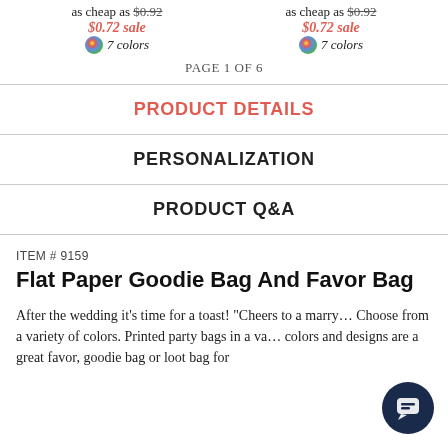as cheap as $0.92
$0.72 sale
7 colors
as cheap as $0.92
$0.72 sale
7 colors
PAGE 1 OF 6
PRODUCT DETAILS
PERSONALIZATION
PRODUCT Q&A
ITEM # 9159
Flat Paper Goodie Bag And Favor Bag
After the wedding it's time for a toast! "Cheers to a marry... Choose from a variety of colors. Printed party bags in a va... colors and designs are a great favor, goodie bag or loot bag for